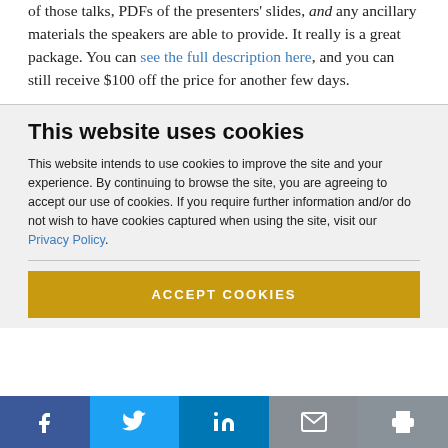of those talks, PDFs of the presenters' slides, and any ancillary materials the speakers are able to provide. It really is a great package. You can see the full description here, and you can still receive $100 off the price for another few days.
This website uses cookies
This website intends to use cookies to improve the site and your experience. By continuing to browse the site, you are agreeing to accept our use of cookies. If you require further information and/or do not wish to have cookies captured when using the site, visit our Privacy Policy.
ACCEPT COOKIES
[Figure (infographic): Social sharing bar with Facebook, Twitter, LinkedIn, email, and print buttons]